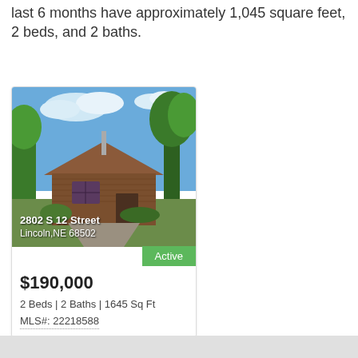last 6 months have approximately 1,045 square feet, 2 beds, and 2 baths.
[Figure (photo): Exterior photo of a brick house with trees and blue sky. Address overlay: 2802 S 12 Street, Lincoln,NE 68502]
$190,000
2 Beds | 2 Baths | 1645 Sq Ft
MLS#: 22218588